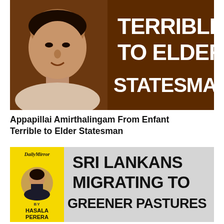[Figure (photo): Book or article cover image with brown background showing a man's portrait on the left and white bold text reading 'TERRIBLE TO ELDER STATESMAN' on the right, with a red bar at top left]
Appapillai Amirthalingam From Enfant Terrible to Elder Statesman
[Figure (infographic): Daily Mirror article thumbnail with yellow sidebar showing author photo and name 'BY HASALA PERERA', and large bold black text on grey background reading 'SRI LANKANS MIGRATING TO GREENER PASTURES']